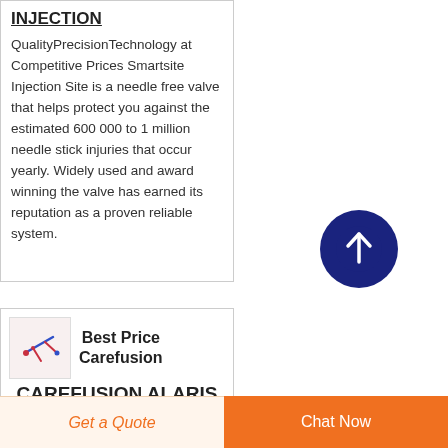INJECTION
QualityPrecisionTechnology at Competitive Prices Smartsite Injection Site is a needle free valve that helps protect you against the estimated 600 000 to 1 million needle stick injuries that occur yearly. Widely used and award winning the valve has earned its reputation as a proven reliable system.
[Figure (photo): Small product image showing injection site components]
Best Price Carefusion
CAREFUSION ALARIS
Get a Quote
Chat Now